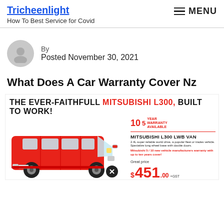Tricheenlight
How To Best Service for Covid
MENU
By
Posted November 30, 2021
What Does A Car Warranty Cover Nz
[Figure (photo): Advertisement for Mitsubishi L300 LWB Van. Headline: THE EVER-FAITHFULL MITSUBISHI L300, BUILT TO WORK! Shows a red Mitsubishi L300 van with pricing: $451.00 +GST per month. Text includes: MITSUBISHI L300 LWB VAN, 2.4L super reliable world drive, a popular fleet or trades vehicle. Specialize long wheel base with double doors. Mitsubishi 5/10 new vehicle manufacturers warranty with up to ten years cover! Great price $451.00 +GST per month*]